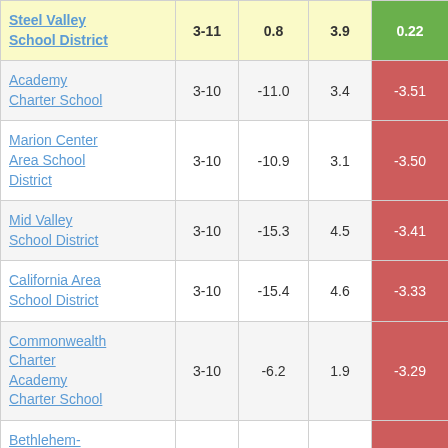| School/District | Grades | Col3 | Col4 | Score |
| --- | --- | --- | --- | --- |
| Steel Valley School District | 3-11 | 0.8 | 3.9 | 0.22 |
| Academy Charter School | 3-10 | -11.0 | 3.4 | -3.51 |
| Marion Center Area School District | 3-10 | -10.9 | 3.1 | -3.50 |
| Mid Valley School District | 3-10 | -15.3 | 4.5 | -3.41 |
| California Area School District | 3-10 | -15.4 | 4.6 | -3.33 |
| Commonwealth Charter Academy Charter School | 3-10 | -6.2 | 1.9 | -3.29 |
| Bethlehem-Center School District | 3-10 | -13.1 | 4.0 | -3.24 |